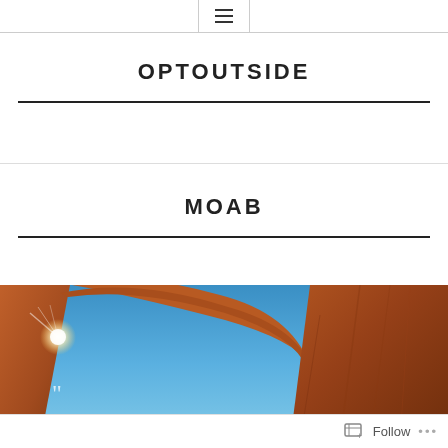☰
OPTOUTSIDE
MOAB
[Figure (photo): Upward-looking view through a red sandstone arch against a bright blue sky, with sunlight flaring from the left side of the arch. Moab, Utah (Arches National Park area).]
Follow •••